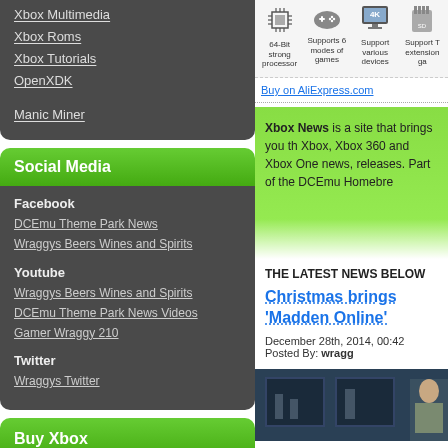Xbox Multimedia
Xbox Roms
Xbox Tutorials
OpenXDK
Manic Miner
Social Media
Facebook
DCEmu Theme Park News
Wraggys Beers Wines and Spirits
Youtube
Wraggys Beers Wines and Spirits
DCEmu Theme Park News Videos
Gamer Wraggy 210
Twitter
Wraggys Twitter
Buy Xbox
[Figure (infographic): Product ad strip showing CPU icon (64-Bit strong processor), gamepad icon (Supports 6 modes of games), monitor icon (Support various devices), and SD card icon (Support extension ga...). Buy on AliExpress.com link.]
Buy on AliExpress.com
Xbox News is a site that brings you the Xbox, Xbox 360 and Xbox One news, releases. Part of the DCEmu Homebrew
THE LATEST NEWS BELOW
Christmas brings 'Madden Online'
December 28th, 2014, 00:42 Posted By: wragg
[Figure (photo): Screenshot or photo showing dark screens/monitors]